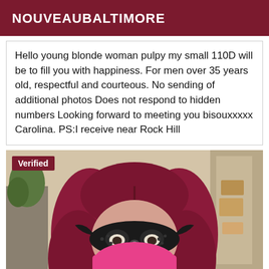NOUVEAUBALTIMORE
Hello young blonde woman pulpy my small 110D will be to fill you with happiness. For men over 35 years old, respectful and courteous. No sending of additional photos Does not respond to hidden numbers Looking forward to meeting you bisouxxxxx Carolina. PS:I receive near Rock Hill
[Figure (photo): Woman with red/dark hair wearing a black masquerade mask and pink face covering, photo taken indoors. A 'Verified' badge is shown in the top-left corner of the image.]